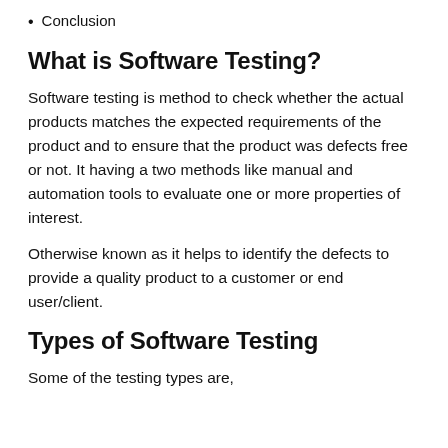Conclusion
What is Software Testing?
Software testing is method to check whether the actual products matches the expected requirements of the product and to ensure that the product was defects free or not. It having a two methods like manual and automation tools to evaluate one or more properties of interest.
Otherwise known as it helps to identify the defects to provide a quality product to a customer or end user/client.
Types of Software Testing
Some of the testing types are,